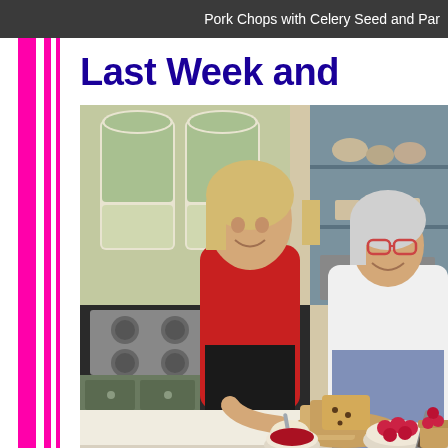Pork Chops with Celery Seed and Par
Last Week and
[Figure (photo): Two women smiling in a historic kitchen setting. One woman in red and black top, one in white chef's coat with blue apron. Kitchen counter in foreground with sliced bread, raspberries, and jam. Gas stove and old-fashioned shelving visible in background.]